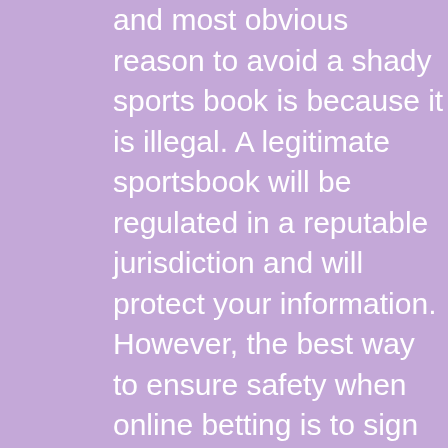and most obvious reason to avoid a shady sports book is because it is illegal. A legitimate sportsbook will be regulated in a reputable jurisdiction and will protect your information. However, the best way to ensure safety when online betting is to sign up with a legal option. This is the best way to make sure you're betting safely and responsibly. Once you sign up for a site, you'll be given a number of options to choose from. Online gambling in the US is largely legal. However, Hawaii and Utah have religious issues